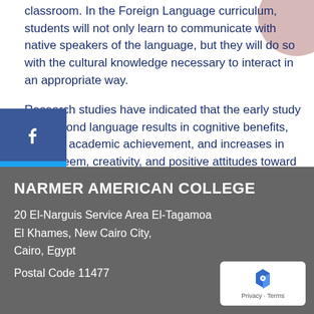classroom. In the Foreign Language curriculum, students will not only learn to communicate with native speakers of the language, but they will do so with the cultural knowledge necessary to interact in an appropriate way.
Research studies have indicated that the early study of a second language results in cognitive benefits, gains in academic achievement, and increases in self-esteem, creativity, and positive attitudes toward diversity.
[Figure (illustration): Social media icon buttons on left side: Facebook (blue), Twitter (blue), YouTube (red)]
[Figure (illustration): Pink decorative circle in top-right corner]
NARMER AMERICAN COLLEGE
20 El-Narguis Service Area El-Tagamoa
El Khames, New Cairo City,
Cairo, Egypt
Postal Code 11477